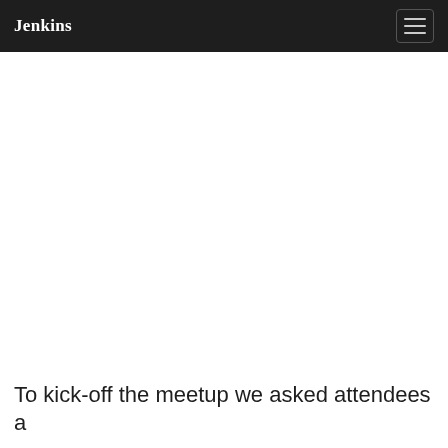Jenkins
To kick-off the meetup we asked attendees a